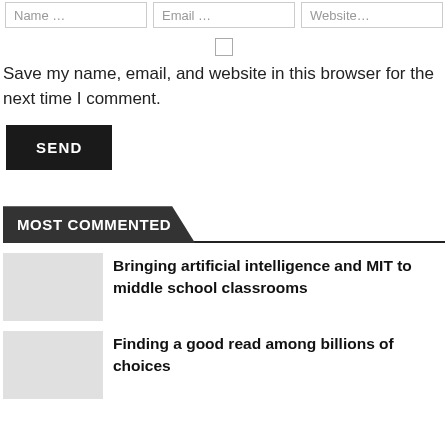Name ...
Email ...
Website...
Save my name, email, and website in this browser for the next time I comment.
SEND
MOST COMMENTED
Bringing artificial intelligence and MIT to middle school classrooms
Finding a good read among billions of choices